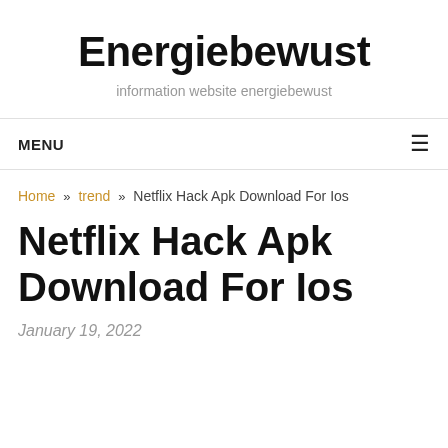Energiebewust
information website energiebewust
MENU
Home » trend » Netflix Hack Apk Download For Ios
Netflix Hack Apk Download For Ios
January 19, 2022